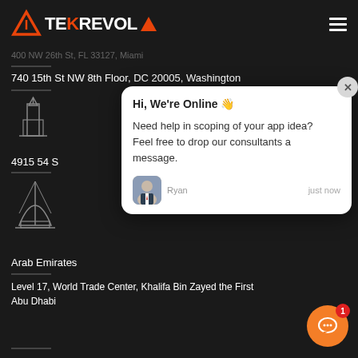[Figure (logo): TekRevol logo with orange K and triangle icon]
400 NW 26th St, FL 33127, Miami
740 15th St NW 8th Floor, DC 20005, Washington
[Figure (illustration): Dubai skyline icon (tower)]
4915 54 S
[Figure (illustration): Dubai Burj Al Arab building icon]
Arab Emirates
Level 17, World Trade Center, Khalifa Bin Zayed the First
Abu Dhabi
[Figure (screenshot): Live chat popup with greeting 'Hi, We're Online' and message about app scoping from Ryan]
[Figure (other): Orange chat button with red badge showing 1 notification]